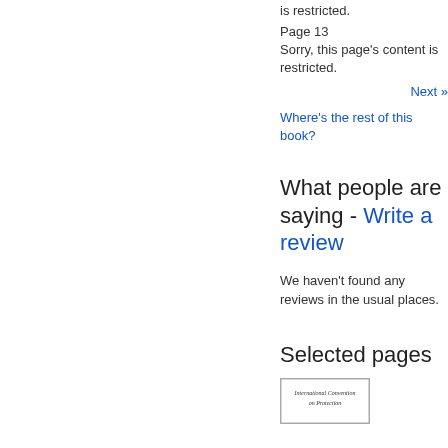is restricted.
Page 13
Sorry, this page's content is restricted.
Next »
Where's the rest of this book?
What people are saying - Write a review
We haven't found any reviews in the usual places.
Selected pages
[Figure (other): Thumbnail image of a book page titled 'International Convention on Protection']